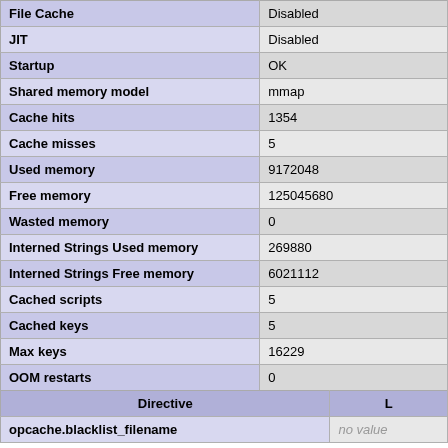|  |  |
| --- | --- |
| File Cache | Disabled |
| JIT | Disabled |
| Startup | OK |
| Shared memory model | mmap |
| Cache hits | 1354 |
| Cache misses | 5 |
| Used memory | 9172048 |
| Free memory | 125045680 |
| Wasted memory | 0 |
| Interned Strings Used memory | 269880 |
| Interned Strings Free memory | 6021112 |
| Cached scripts | 5 |
| Cached keys | 5 |
| Max keys | 16229 |
| OOM restarts | 0 |
| Hash keys restarts | 0 |
| Manual restarts | 0 |
| Directive | L |
| --- | --- |
| opcache.blacklist_filename | no value |